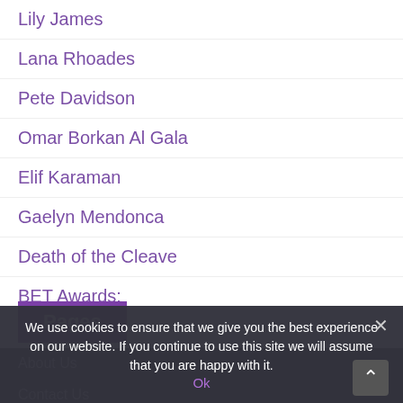Lily James
Lana Rhoades
Pete Davidson
Omar Borkan Al Gala
Elif Karaman
Gaelyn Mendonca
Death of the Cleave
BET Awards:
Pages
About Us
Contact Us
Home
We use cookies to ensure that we give you the best experience on our website. If you continue to use this site we will assume that you are happy with it.
Ok